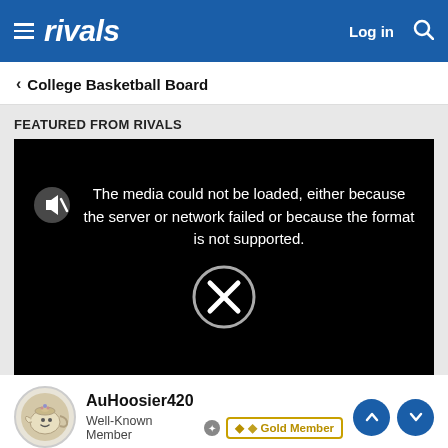rivals — Log in
< College Basketball Board
FEATURED FROM RIVALS
[Figure (screenshot): Video player with error message: The media could not be loaded, either because the server or network failed or because the format is not supported. Shows a muted speaker icon and an X circle icon.]
AuHoosier420 — Well-Known Member — Gold Member